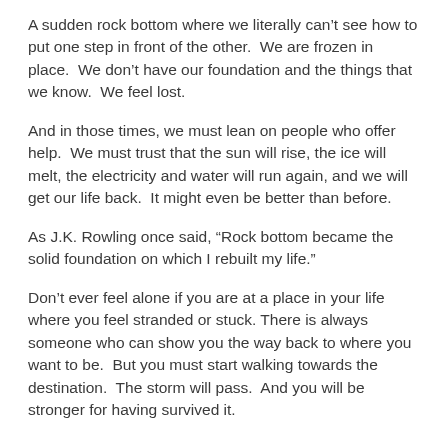A sudden rock bottom where we literally can't see how to put one step in front of the other.  We are frozen in place.  We don't have our foundation and the things that we know.  We feel lost.
And in those times, we must lean on people who offer help.  We must trust that the sun will rise, the ice will melt, the electricity and water will run again, and we will get our life back.  It might even be better than before.
As J.K. Rowling once said, “Rock bottom became the solid foundation on which I rebuilt my life.”
Don’t ever feel alone if you are at a place in your life where you feel stranded or stuck. There is always someone who can show you the way back to where you want to be.  But you must start walking towards the destination.  The storm will pass.  And you will be stronger for having survived it.